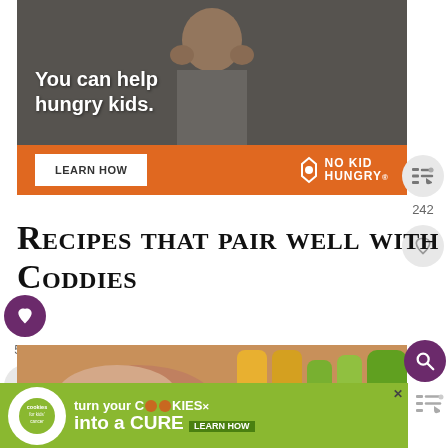[Figure (photo): Advertisement banner for No Kid Hungry showing a young boy eating with text 'You can help hungry kids.' on an orange bar with a LEARN HOW button and No Kid Hungry logo]
Recipes That Pair Well With Coddies
[Figure (photo): Close-up food photo showing hands and colorful vegetables including yellow and green items]
[Figure (photo): Advertisement for Cookies for Kids Cancer: 'turn your COOKIES into a CURE LEARN HOW']